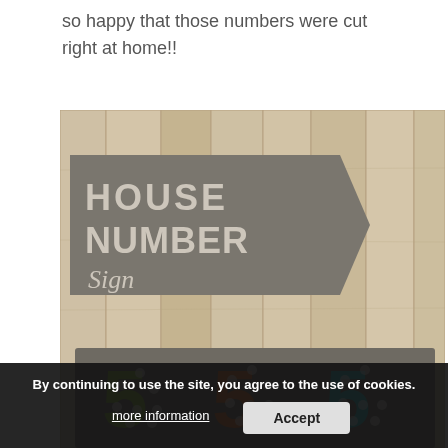so happy that those numbers were cut right at home!!
[Figure (photo): A house number sign with a gray banner reading 'HOUSE NUMBER Sign' on a whitewashed wood plank background, with colorful polka-dot numbers (green, orange, teal) visible at the bottom on a gray wooden board.]
By continuing to use the site, you agree to the use of cookies.
more information
Accept